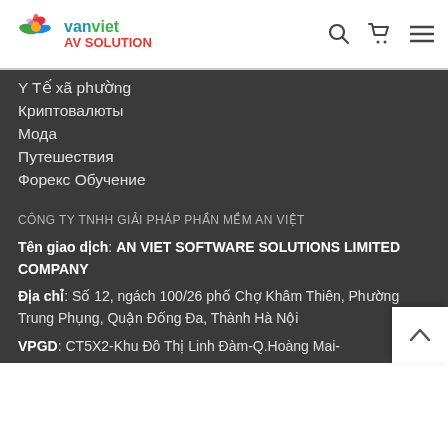[Figure (logo): An Viet AV Solution logo with colorful flower/bird graphic and text 'Van Viet AV Solution']
Y Tế xã phường
Криптовалюты
Мода
Путешествия
Форекс Обучение
CÔNG TY TNHH GIẢI PHÁP PHẦN MỀM AN VIỆT
Tên giao dịch: AN VIET SOFTWARE SOLUTIONS LIMITED COMPANY
Địa chỉ: Số 12, ngách 100/26 phố Chợ Khâm Thiên, Phường Trung Phụng, Quận Đống Đa, Thành Hà Nội
VPGD: CT5X2-Khu Đô Thị Linh Đàm-Q.Hoàng Mai-